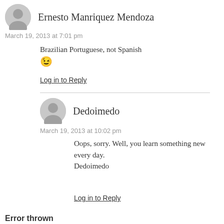Ernesto Manriquez Mendoza
March 19, 2013 at 7:01 pm
Brazilian Portuguese, not Spanish 😉
Log in to Reply
Dedoimedo
March 19, 2013 at 10:02 pm
Oops, sorry. Well, you learn something new every day. Dedoimedo
Log in to Reply
Error thrown